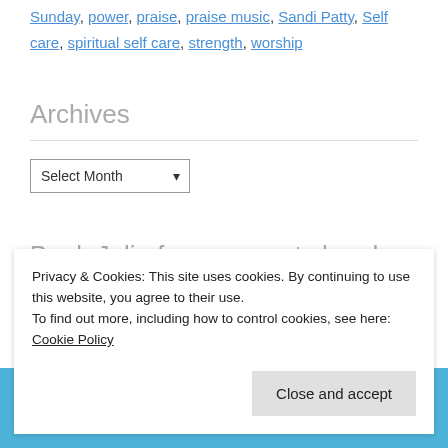Sunday, power, praise, praise music, Sandi Patty, Self care, spiritual self care, strength, worship
Archives
[Figure (other): A dropdown selector labeled 'Select Month']
Book Julia for your next church or ministry
Privacy & Cookies: This site uses cookies. By continuing to use this website, you agree to their use. To find out more, including how to control cookies, see here: Cookie Policy
Close and accept